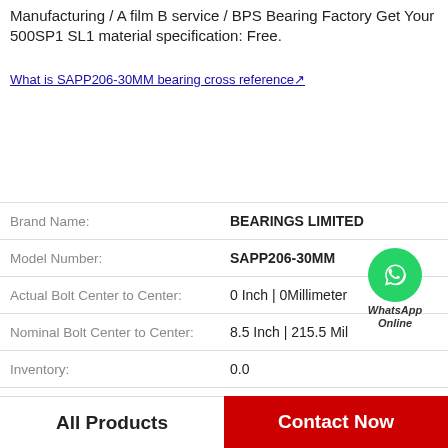Manufacturing / A film B service / BPS Bearing Factory Get Your 500SP1 SL1 material specification: Free.
What is SAPP206-30MM bearing cross reference↗
| Property | Value |
| --- | --- |
| Brand Name: | BEARINGS LIMITED |
| Model Number: | SAPP206-30MM |
| Actual Bolt Center to Center: | 0 Inch | 0Millimeter |
| Nominal Bolt Center to Center: | 8.5 Inch | 215.5 Mil |
| Inventory: | 0.0 |
| Housing Material: | Cast Iron |
| B: | 2.75 Inch | 69.85 Mi |
| Mounting Method: | Concentric Collar |
[Figure (logo): WhatsApp Online green circle badge with phone icon and italic text 'WhatsApp Online']
All Products
Contact Now